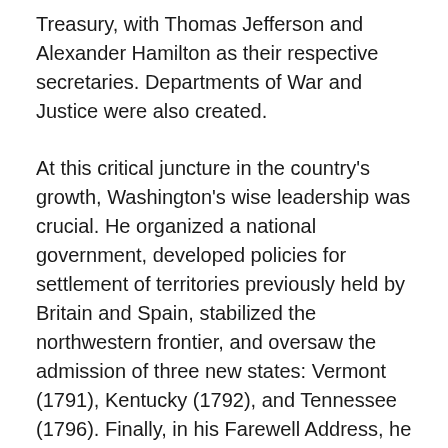Treasury, with Thomas Jefferson and Alexander Hamilton as their respective secretaries. Departments of War and Justice were also created.
At this critical juncture in the country's growth, Washington's wise leadership was crucial. He organized a national government, developed policies for settlement of territories previously held by Britain and Spain, stabilized the northwestern frontier, and oversaw the admission of three new states: Vermont (1791), Kentucky (1792), and Tennessee (1796). Finally, in his Farewell Address, he warned the nation to "steer clear of permanent alliances with any portion of the foreign world."
A conflict took shape in the 1790s between America's first political parties. Indeed, the Federalists, led by Alexander Hamilton, and the Republicans (also called